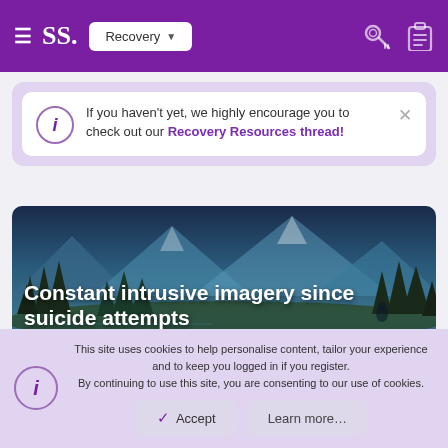SS. Recovery
If you haven't yet, we highly encourage you to check out our Recovery Resources thread!
[Figure (illustration): Animated landscape illustration showing mountains, pine trees, and a lake scene in blue and teal tones, with overlaid text: 'Constant intrusive imagery since suicide attempts' by lifecouldbedream, Jun 19, 2022]
This site uses cookies to help personalise content, tailor your experience and to keep you logged in if you register.
By continuing to use this site, you are consenting to our use of cookies.